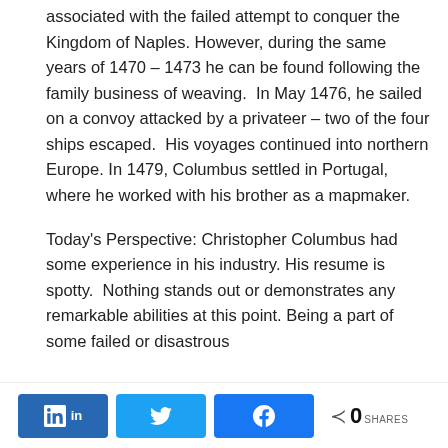associated with the failed attempt to conquer the Kingdom of Naples. However, during the same years of 1470 – 1473 he can be found following the family business of weaving.  In May 1476, he sailed on a convoy attacked by a privateer – two of the four ships escaped.  His voyages continued into northern Europe. In 1479, Columbus settled in Portugal, where he worked with his brother as a mapmaker.
Today's Perspective: Christopher Columbus had some experience in his industry. His resume is spotty.  Nothing stands out or demonstrates any remarkable abilities at this point. Being a part of some failed or disastrous
[Figure (other): Social sharing bar with LinkedIn, Twitter, and Facebook buttons, plus a share count showing 0 SHARES]